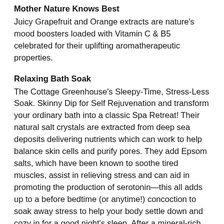Mother Nature Knows Best
Juicy Grapefruit and Orange extracts are nature's mood boosters loaded with Vitamin C & B5 celebrated for their uplifting aromatherapeutic properties.
Relaxing Bath Soak
The Cottage Greenhouse's Sleepy-Time, Stress-Less Soak. Skinny Dip for Self Rejuvenation and transform your ordinary bath into a classic Spa Retreat! Their natural salt crystals are extracted from deep sea deposits delivering nutrients which can work to help balance skin cells and purify pores. They add Epsom salts, which have been known to soothe tired muscles, assist in relieving stress and can aid in promoting the production of serotonin—this all adds up to a before bedtime (or anytime!) concoction to soak away stress to help your body settle down and cozy in for a good night's sleep. After a mineral-rich bath, you will feel more relaxed, calm and happy. Dip in and renew yourself!
Instructions for Enjoyment
Add to freshly drawn warm water three heaping spoonfuls of Bath Salts. Allow salts time to dissolve and infuse soothing